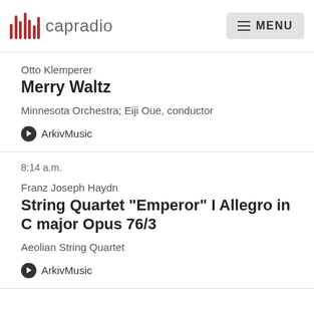capradio MENU
Otto Klemperer
Merry Waltz
Minnesota Orchestra; Eiji Oue, conductor
ArkivMusic
8:14 a.m.
Franz Joseph Haydn
String Quartet "Emperor" I Allegro in C major Opus 76/3
Aeolian String Quartet
ArkivMusic